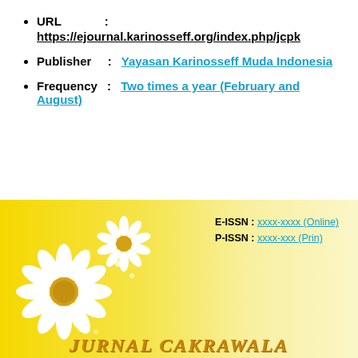URL : https://ejournal.karinosseff.org/index.php/jcpk
Publisher : Yayasan Karinosseff Muda Indonesia
Frequency : Two times a year (February and August)
[Figure (illustration): Yellow gradient background journal cover banner with white daisy flowers on the left, E-ISSN and P-ISSN fields on the right, and the text JURNAL CAKRAWALA at the bottom in orange italic serif font.]